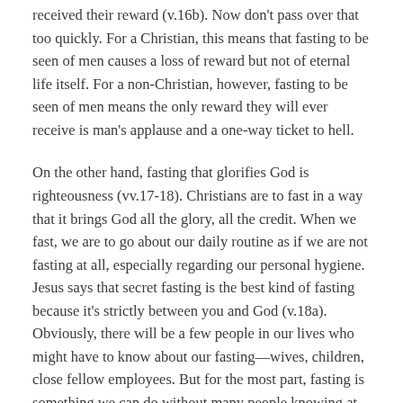received their reward (v.16b). Now don't pass over that too quickly. For a Christian, this means that fasting to be seen of men causes a loss of reward but not of eternal life itself. For a non-Christian, however, fasting to be seen of men means the only reward they will ever receive is man's applause and a one-way ticket to hell.
On the other hand, fasting that glorifies God is righteousness (vv.17-18). Christians are to fast in a way that it brings God all the glory, all the credit. When we fast, we are to go about our daily routine as if we are not fasting at all, especially regarding our personal hygiene. Jesus says that secret fasting is the best kind of fasting because it's strictly between you and God (v.18a). Obviously, there will be a few people in our lives who might have to know about our fasting—wives, children, close fellow employees. But for the most part, fasting is something we can do without many people knowing at all.